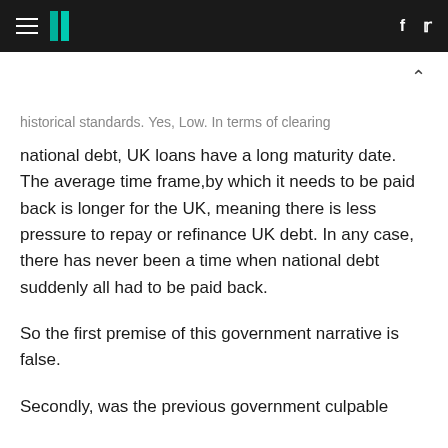HuffPost header with hamburger menu, logo, Facebook and Twitter icons
historical standards. Yes, Low. In terms of clearing national debt, UK loans have a long maturity date. The average time frame,by which it needs to be paid back is longer for the UK, meaning there is less pressure to repay or refinance UK debt. In any case, there has never been a time when national debt suddenly all had to be paid back.
So the first premise of this government narrative is false.
Secondly, was the previous government culpable